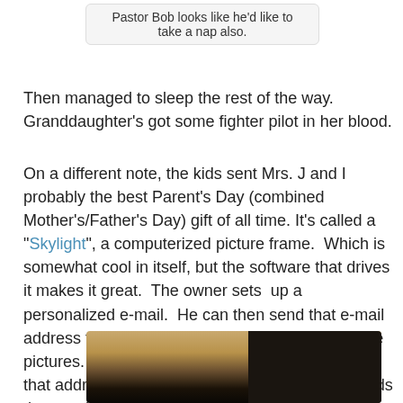Pastor Bob looks like he'd like to take a nap also.
Then managed to sleep the rest of the way. Granddaughter's got some fighter pilot in her blood.
On a different note, the kids sent Mrs. J and I probably the best Parent's Day (combined Mother's/Father's Day) gift of all time. It's called a "Skylight", a computerized picture frame. Which is somewhat cool in itself, but the software that drives it makes it great. The owner sets up a personalized e-mail. He can then send that e-mail address to anyone he wants to have access to the pictures. Pictures are added by emailing them to that address. Their server automatically downloads the attached picture and adds it to the collection. Permissions include the ability to add pictures or just view them.
[Figure (photo): Bottom portion of a photo showing what appears to be an animal or pet on a surface, with warm brown tones and dark background on the right side.]